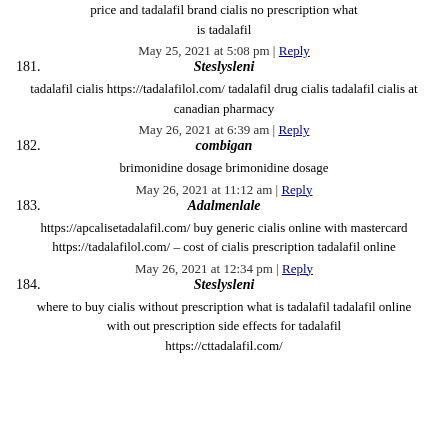price and tadalafil brand cialis no prescription what is tadalafil
May 25, 2021 at 5:08 pm | Reply
181. Steslysleni
tadalafil cialis https://tadalafilol.com/ tadalafil drug cialis tadalafil cialis at canadian pharmacy
May 26, 2021 at 6:39 am | Reply
182. combigan
brimonidine dosage brimonidine dosage
May 26, 2021 at 11:12 am | Reply
183. Adalmenlale
https://apcalisetadalafil.com/ buy generic cialis online with mastercard https://tadalafilol.com/ – cost of cialis prescription tadalafil online
May 26, 2021 at 12:34 pm | Reply
184. Steslysleni
where to buy cialis without prescription what is tadalafil tadalafil online with out prescription side effects for tadalafil https://cttadalafil.com/